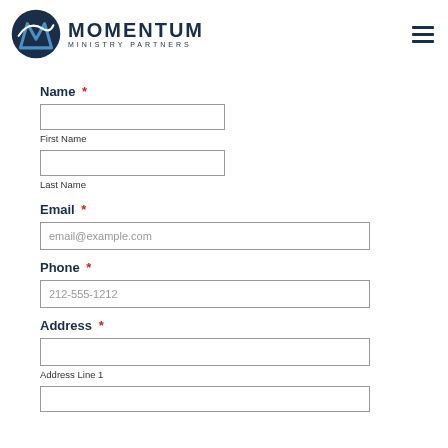[Figure (logo): Momentum Ministry Partners logo with stylized M icon and text]
Name *
First Name
Last Name
Email *
email@example.com
Phone *
212-555-1212
Address *
Address Line 1